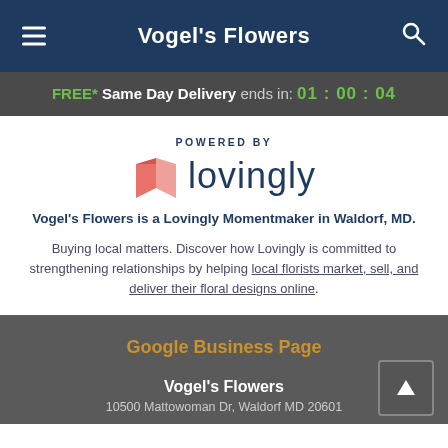Vogel's Flowers
FREE* Same Day Delivery ends in: 01:00:04
[Figure (logo): Lovingly logo with pink heart/box icon and text 'lovingly' and label 'POWERED BY' above]
Vogel's Flowers is a Lovingly Momentmaker in Waldorf, MD.
Buying local matters. Discover how Lovingly is committed to strengthening relationships by helping local florists market, sell, and deliver their floral designs online.
Google Business Page
Vogel's Flowers
10500 Mattowoman Dr, Waldorf MD 20601